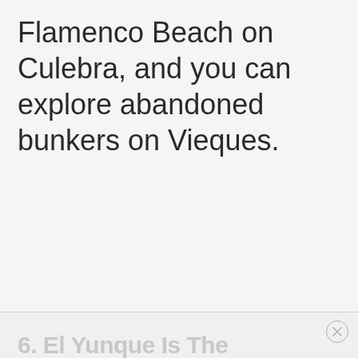Flamenco Beach on Culebra, and you can explore abandoned bunkers on Vieques.
6. El Yunque Is The